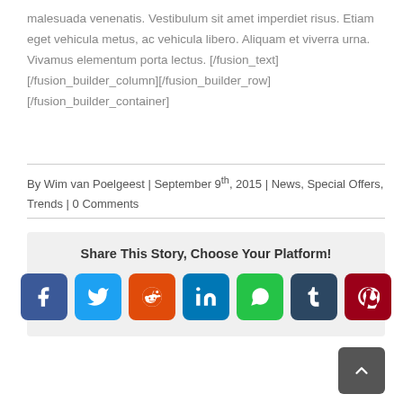malesuada venenatis. Vestibulum sit amet imperdiet risus. Etiam eget vehicula metus, ac vehicula libero. Aliquam et viverra urna. Vivamus elementum porta lectus. [/fusion_text][/fusion_builder_column][/fusion_builder_row][/fusion_builder_container]
By Wim van Poelgeest | September 9th, 2015 | News, Special Offers, Trends | 0 Comments
Share This Story, Choose Your Platform!